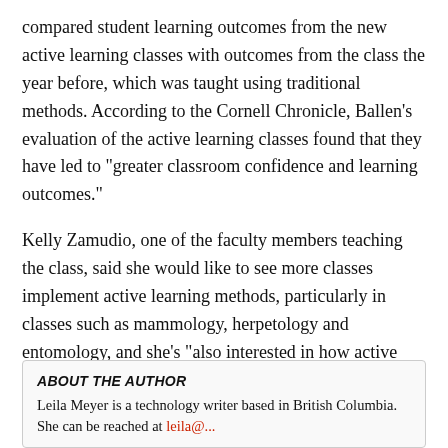compared student learning outcomes from the new active learning classes with outcomes from the class the year before, which was taught using traditional methods. According to the Cornell Chronicle, Ballen's evaluation of the active learning classes found that they have led to "greater classroom confidence and learning outcomes."
Kelly Zamudio, one of the faculty members teaching the class, said she would like to see more classes implement active learning methods, particularly in classes such as mammology, herpetology and entomology, and she's "also interested in how active learning can be applied to online classes," according to the Cornell Chronicle.
ABOUT THE AUTHOR
Leila Meyer is a technology writer based in British Columbia. She can be reached at leila@...